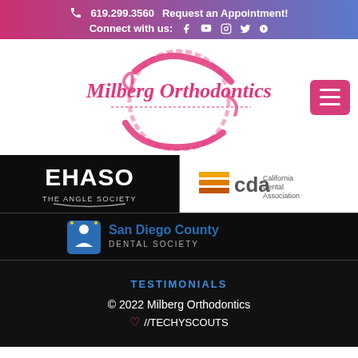619.299.3560  Request an Appointment!  Connect with us: [social icons]
[Figure (logo): Milberg Orthodontics logo with pink cursive text and circular brush stroke design]
[Figure (logo): EHASO - The Angle Society logo in white text on black background]
[Figure (logo): CDA California Dental Association logo on white background]
[Figure (logo): San Diego County Dental Society logo with blue icon]
TESTIMONIALS
© 2022 Milberg Orthodontics  ♡ //TECHYSCOUTS